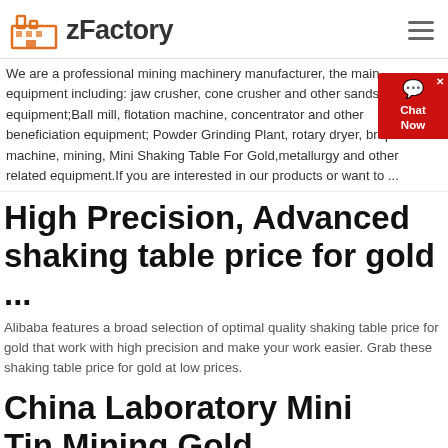zFactory
We are a professional mining machinery manufacturer, the main equipment including: jaw crusher, cone crusher and other sandstone equipment;Ball mill, flotation machine, concentrator and other beneficiation equipment; Powder Grinding Plant, rotary dryer, briquette machine, mining, Mini Shaking Table For Gold,metallurgy and other related equipment.If you are interested in our products or want to ...
High Precision, Advanced shaking table price for gold ...
Alibaba features a broad selection of optimal quality shaking table price for gold that work with high precision and make your work easier. Grab these shaking table price for gold at low prices.
China Laboratory Mini Tin Mining Gold Shaking Table...
Gold Shaking Table Machine, Laboratory Shaking Table, Laboratory Mini